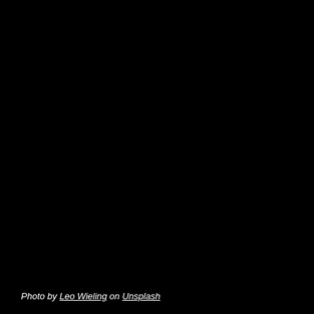[Figure (photo): Predominantly black/dark photograph, nearly entirely dark with no discernible subject visible.]
Photo by Leo Wieling on Unsplash